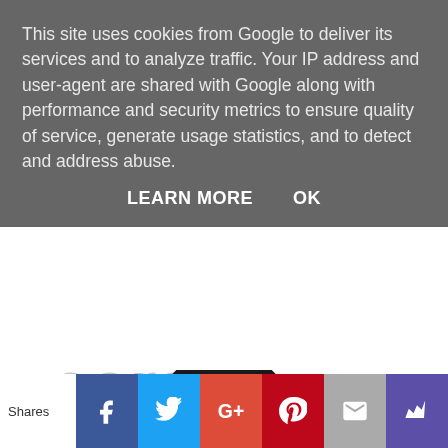This site uses cookies from Google to deliver its services and to analyze traffic. Your IP address and user-agent are shared with Google along with performance and security metrics to ensure quality of service, generate usage statistics, and to detect and address abuse.
LEARN MORE   OK
[Figure (logo): Partial large italic gray text and a partial black hexagonal shield logo visible behind the cookie consent overlay]
Shares
[Figure (infographic): Social share bar with icons for Facebook, Twitter, Google+, Pinterest, Email, and a crown/bookmark icon]